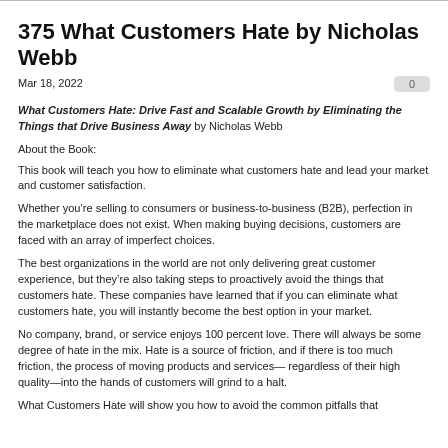375 What Customers Hate by Nicholas Webb
Mar 18, 2022
What Customers Hate: Drive Fast and Scalable Growth by Eliminating the Things that Drive Business Away by Nicholas Webb
About the Book:
This book will teach you how to eliminate what customers hate and lead your market and customer satisfaction.
Whether you’re selling to consumers or business-to-business (B2B), perfection in the marketplace does not exist. When making buying decisions, customers are faced with an array of imperfect choices.
The best organizations in the world are not only delivering great customer experience, but they’re also taking steps to proactively avoid the things that customers hate. These companies have learned that if you can eliminate what customers hate, you will instantly become the best option in your market.
No company, brand, or service enjoys 100 percent love. There will always be some degree of hate in the mix. Hate is a source of friction, and if there is too much friction, the process of moving products and services— regardless of their high quality—into the hands of customers will grind to a halt.
What Customers Hate will show you how to avoid the common pitfalls that